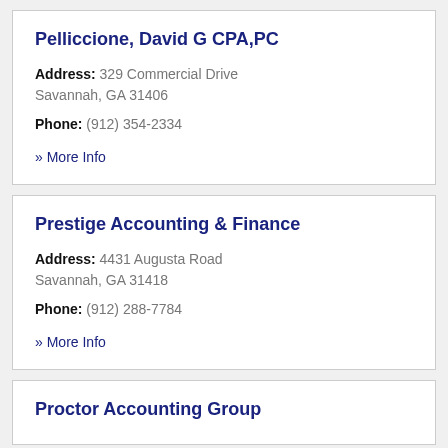Pelliccione, David G CPA,PC
Address: 329 Commercial Drive Savannah, GA 31406
Phone: (912) 354-2334
» More Info
Prestige Accounting & Finance
Address: 4431 Augusta Road Savannah, GA 31418
Phone: (912) 288-7784
» More Info
Proctor Accounting Group